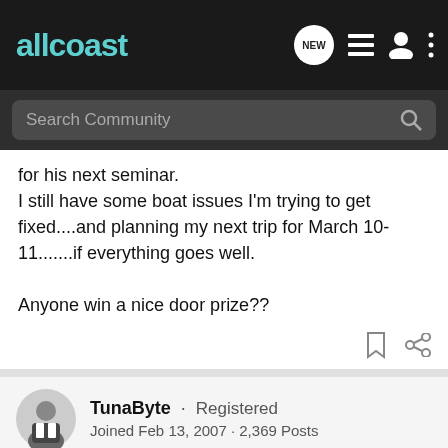allcoast
Search Community
for his next seminar.
I still have some boat issues I'm trying to get fixed....and planning my next trip for March 10-11.......if everything goes well.

Anyone win a nice door prize??
TunaByte · Registered
Joined Feb 13, 2007 · 2,369 Posts
#7 · Feb
It was g